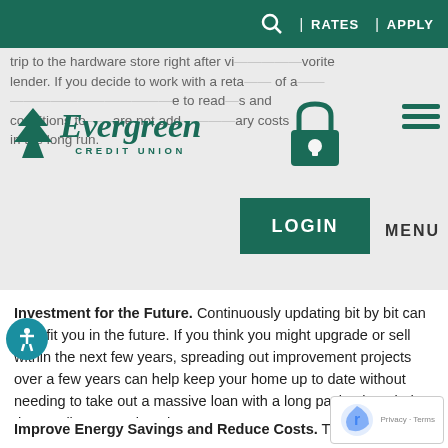RATES | APPLY
[Figure (logo): Evergreen Credit Union logo with tree icon]
trip to the hardware store right after vi- …vorite lender. If you decide to work with a reta …of a … …to read …s and conditions to …are not ad…iary-costs in the long run.
Investment for the Future. Continuously updating bit by bit can benefit you in the future. If you think you might upgrade or sell within the next few years, spreading out improvement projects over a few years can help keep your home up to date without needing to take out a massive loan with a long payback period that out lives your time there.
Improve Energy Savings and Reduce Costs. The perfect time to upgrade your outdated appliances or insulate your home is now. When it comes to energy savings, the sooner you can get them installed, the sooner they can save you money! Up…to LED lights, on demand water heaters, or installing so…panels are all great options. Some loans do not specify what